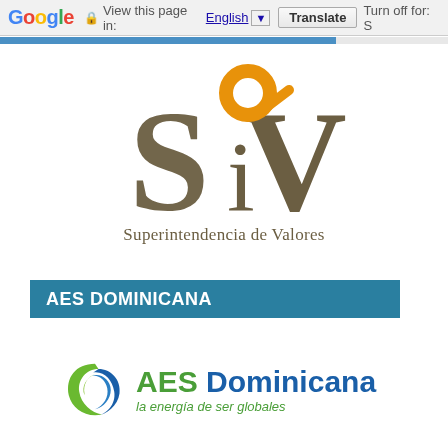Google  View this page in: English  Translate  Turn off for: S
[Figure (logo): SIV - Superintendencia de Valores logo with orange magnifying glass over the letter S]
AES DOMINICANA
[Figure (logo): AES Dominicana logo with green and blue circular swoosh icon and text 'AES Dominicana la energia de ser globales']